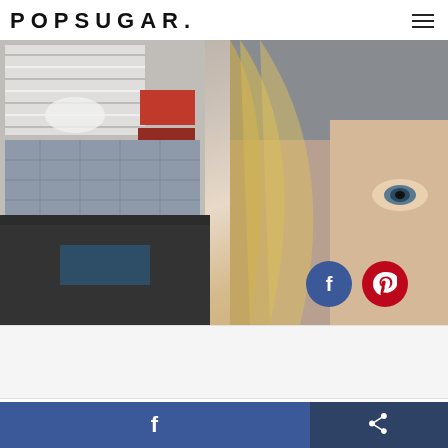POPSUGAR.
[Figure (photo): A composite image: on the left is an inset photo of a bedroom with striped bedding and a gray quilt with red boxes visible; on the right is a close-up selfie of a blonde woman's face showing one eye, taken from below.]
I'm four-and-a-half years into this parenting thing